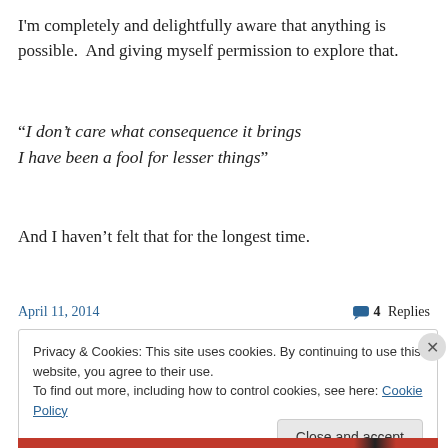I'm completely and delightfully aware that anything is possible.  And giving myself permission to explore that.
“I don’t care what consequence it brings
I have been a fool for lesser things”
And I haven’t felt that for the longest time.
April 11, 2014
4 Replies
Privacy & Cookies: This site uses cookies. By continuing to use this website, you agree to their use.
To find out more, including how to control cookies, see here: Cookie Policy
Close and accept